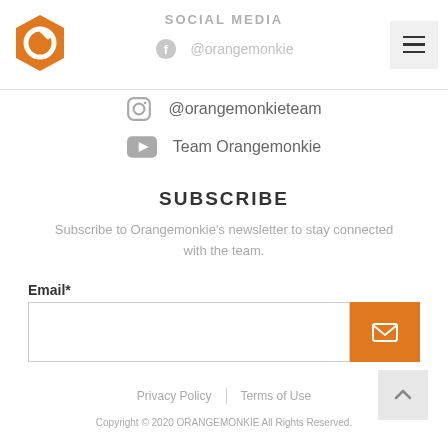[Figure (logo): Orange hexagon logo with stylized P/loop symbol]
SOCIAL MEDIA
@orangemonkie
@orangemonkieteam
Team Orangemonkie
SUBSCRIBE
Subscribe to Orangemonkie's newsletter to stay connected with the team.
Email*
Privacy Policy | Terms of Use
Copyright © 2020 ORANGEMONKIE All Rights Reserved.